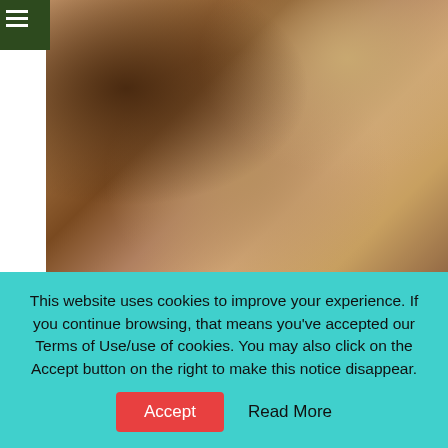[Figure (photo): Partial photo of two people, one with chain necklace showing bare torso, another with rosary necklace, cropped at top of page]
Nymphomaniac: Vol. II (2013) Movie Review: Lars von Trier Delivers More Provocative...
[Figure (photo): Photo of multiple faces upside down, appearing to be a movie promotional image with orange/brown toned lighting]
This website uses cookies to improve your experience. If you continue browsing, that means you've accepted our Terms of Use/use of cookies. You may also click on the Accept button on the right to make this notice disappear.